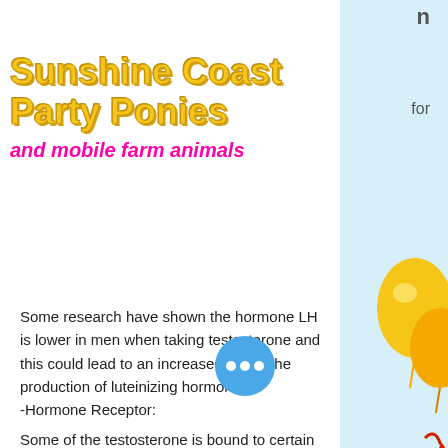n
for
Sunshine Coast Party Ponies
and mobile farm animals
Some research have shown the hormone LH is lower in men when taking testosterone and this could lead to an increased risk in the production of luteinizing hormone.
-Hormone Receptor:
Some of the testosterone is bound to certain hormones that trigger the release of sex hormones that are essential for a proper development of the body's reproductive system and is also involved in the development of the male reproductive